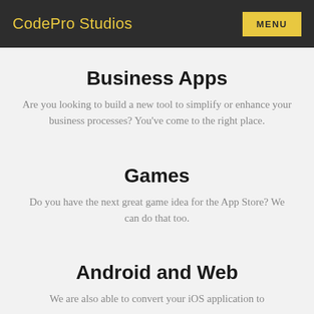CodePro Studios | MENU
Business Apps
Are you looking to build a new tool to simplify or enhance your business processes? You've come to the right place.
Games
Do you have the next great game idea for the App Store? We can do that too.
Android and Web
We are also able to convert your iOS application to